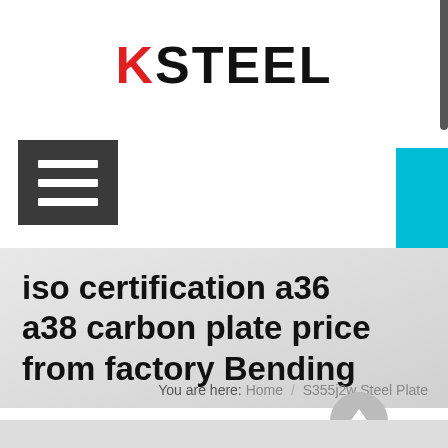[Figure (logo): KSTEEL logo with K in red and STEEL in black bold text]
[Figure (other): Hamburger menu icon — three white horizontal lines on dark grey background]
[Figure (other): Teal/cyan vertical button on right side with Chinese text 在线咨询 (Online Consultation)]
iso certification a36 a38 carbon plate price from factory Bending
You are here:  Home  /  S355j2w Steel Plate
[Figure (other): Grey circular scroll-to-top button with upward arrow]
[Figure (other): Bottom grey strip/bar]